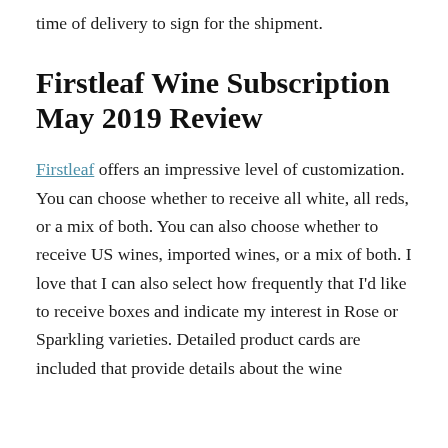time of delivery to sign for the shipment.
Firstleaf Wine Subscription May 2019 Review
Firstleaf offers an impressive level of customization. You can choose whether to receive all white, all reds, or a mix of both. You can also choose whether to receive US wines, imported wines, or a mix of both. I love that I can also select how frequently that I'd like to receive boxes and indicate my interest in Rose or Sparkling varieties. Detailed product cards are included that provide details about the wine